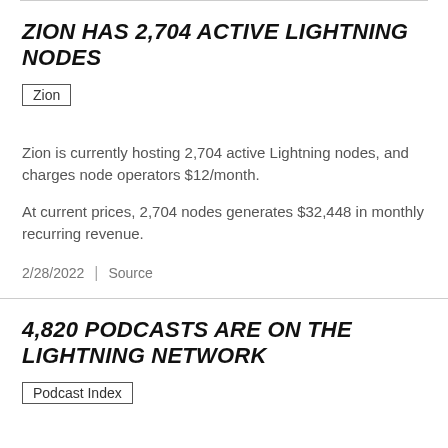ZION HAS 2,704 ACTIVE LIGHTNING NODES
Zion
Zion is currently hosting 2,704 active Lightning nodes, and charges node operators $12/month.
At current prices, 2,704 nodes generates $32,448 in monthly recurring revenue.
2/28/2022  |  Source
4,820 PODCASTS ARE ON THE LIGHTNING NETWORK
Podcast Index